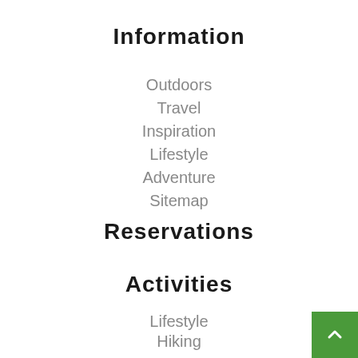Information
Outdoors
Travel
Inspiration
Lifestyle
Adventure
Sitemap
Reservations
Activities
Lifestyle
Hiking
Inspiration
Adventure